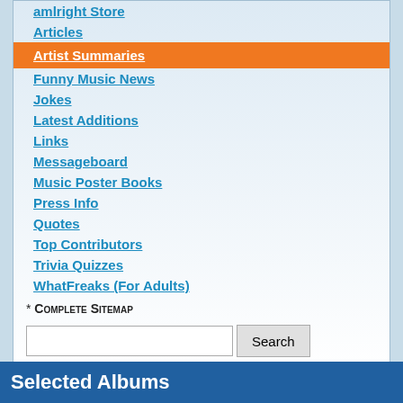amlright Store
Articles
Artist Summaries
Funny Music News
Jokes
Latest Additions
Links
Messageboard
Music Poster Books
Press Info
Quotes
Top Contributors
Trivia Quizzes
WhatFreaks (For Adults)
* Complete Sitemap
Selected Albums